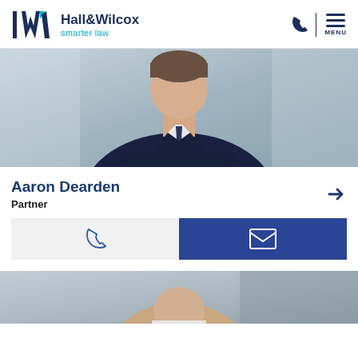Hall & Wilcox smarter law
[Figure (photo): Professional headshot of Aaron Dearden, a man in a dark navy suit with white shirt and navy tie, arms crossed, office background with large windows]
Aaron Dearden
Partner
[Figure (photo): Partial headshot of a second person, cropped at bottom of page]